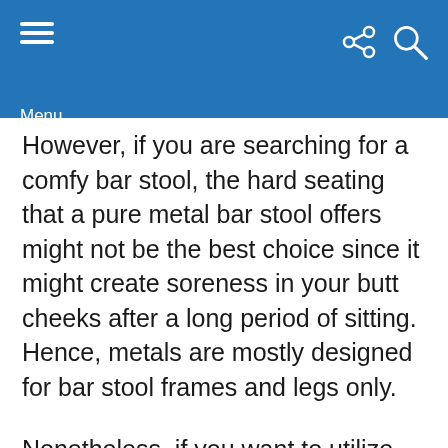Menu
However, if you are searching for a comfy bar stool, the hard seating that a pure metal bar stool offers might not be the best choice since it might create soreness in your butt cheeks after a long period of sitting. Hence, metals are mostly designed for bar stool frames and legs only.
Nonetheless, if you want to utilize metal in your bar stools because of its durability but want enough comfort, you can always add cushioning to make it more comfortable.
Moreover, metal bar stools are ideal for industrial and...